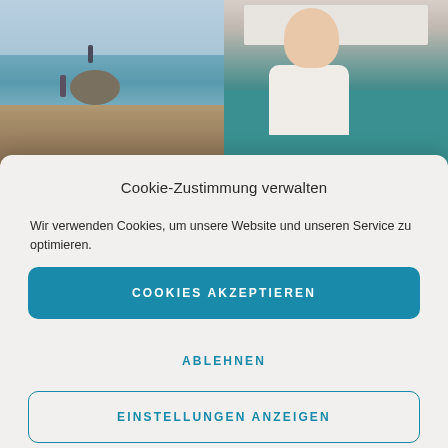[Figure (photo): Two photos side by side: left shows a beach scene with people standing on rocks in shallow water; right shows a woman holding supplement bottles inside a camper van]
Cookie-Zustimmung verwalten
Wir verwenden Cookies, um unsere Website und unseren Service zu optimieren.
COOKIES AKZEPTIEREN
ABLEHNEN
EINSTELLUNGEN ANZEIGEN